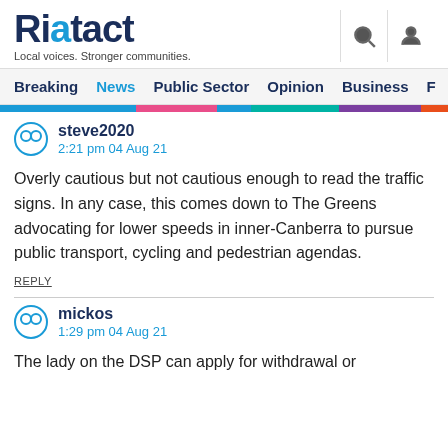Riotact — Local voices. Stronger communities.
Breaking  News  Public Sector  Opinion  Business  F
steve2020
2:21 pm 04 Aug 21

Overly cautious but not cautious enough to read the traffic signs. In any case, this comes down to The Greens advocating for lower speeds in inner-Canberra to pursue public transport, cycling and pedestrian agendas.

REPLY
mickos
1:29 pm 04 Aug 21

The lady on the DSP can apply for withdrawal or